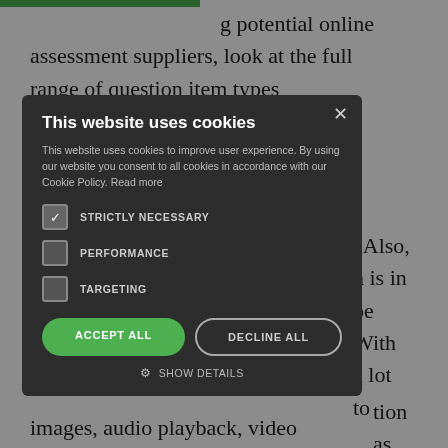...ng potential online assessment suppliers, look at the full range of question item types available, both auto-scored and...
[Figure (screenshot): Cookie consent modal dialog overlay on a webpage. The modal has a dark background and contains: title 'This website uses cookies', body text about cookies policy, checkboxes for STRICTLY NECESSARY (checked), PERFORMANCE (unchecked), TARGETING (unchecked), an ACCEPT ALL green button, a DECLINE ALL outline button, and a SHOW DETAILS link with gear icon. An X close button is in the top right.]
...images, audio playback, video...